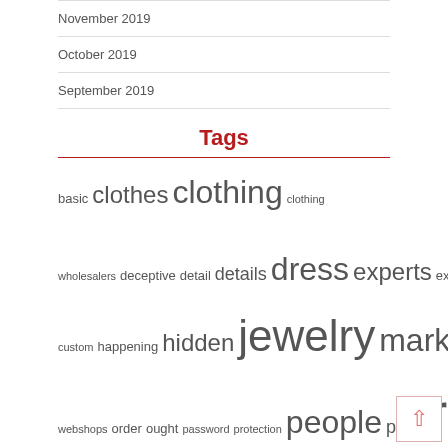November 2019
October 2019
September 2019
Tags
basic clothes clothing clothing wholesalers deceptive detail details dress experts exposed eyeglasses fashion function halloween custom happening hidden jewelry marketplace online online webshops order ought password protection people plain rayban report reveals secret secrets shoes shopping shopping online safety tips simple